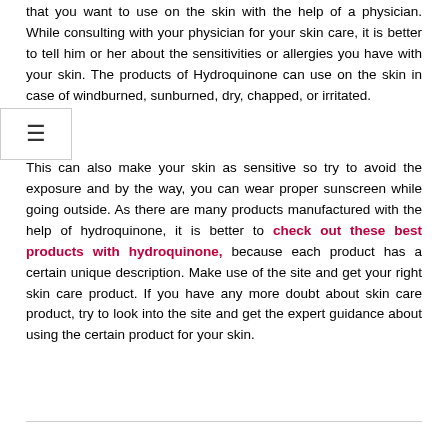that you want to use on the skin with the help of a physician. While consulting with your physician for your skin care, it is better to tell him or her about the sensitivities or allergies you have with your skin. The products of Hydroquinone can use on the skin in case of windburned, sunburned, dry, chapped, or irritated.
This can also make your skin as sensitive so try to avoid the exposure and by the way, you can wear proper sunscreen while going outside. As there are many products manufactured with the help of hydroquinone, it is better to check out these best products with hydroquinone, because each product has a certain unique description. Make use of the site and get your right skin care product. If you have any more doubt about skin care product, try to look into the site and get the expert guidance about using the certain product for your skin.